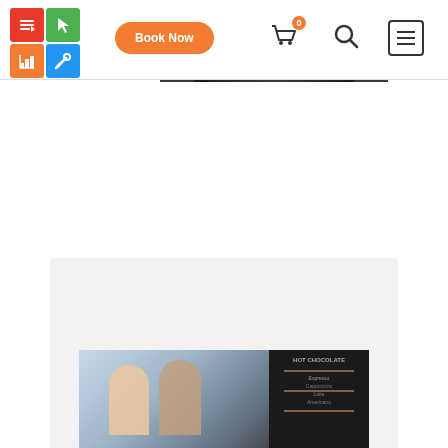[Figure (screenshot): Website header/navigation bar with a colorful 4-square logo grid (red, green, orange, blue tiles with white icons), an orange 'Book Now' pill button, a cart icon with orange badge showing 0, a search icon, and a hamburger menu icon]
[Figure (photo): Partial top photograph showing a person (dark clothing, close-up) against a dark background — only the lower portion visible at top of page]
[Figure (photo): Bottom card image showing a light gray background card with a photo of people in a cafe/coffee bar setting — a person at a counter and a chalkboard menu board visible]